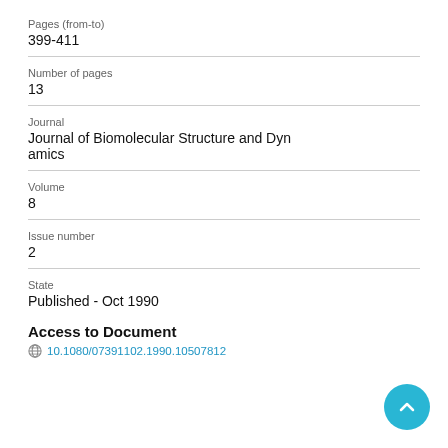Pages (from-to)
399-411
Number of pages
13
Journal
Journal of Biomolecular Structure and Dynamics
Volume
8
Issue number
2
State
Published - Oct 1990
Access to Document
10.1080/07391102.1990.10507812